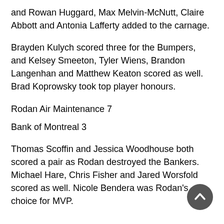and Rowan Huggard, Max Melvin-McNutt, Claire Abbott and Antonia Lafferty added to the carnage.
Brayden Kulych scored three for the Bumpers, and Kelsey Smeeton, Tyler Wiens, Brandon Langenhan and Matthew Keaton scored as well. Brad Koprowsky took top player honours.
Rodan Air Maintenance 7
Bank of Montreal 3
Thomas Scoffin and Jessica Woodhouse both scored a pair as Rodan destroyed the Bankers. Michael Hare, Chris Fisher and Jared Worsfold scored as well. Nicole Bendera was Rodan's choice for MVP.